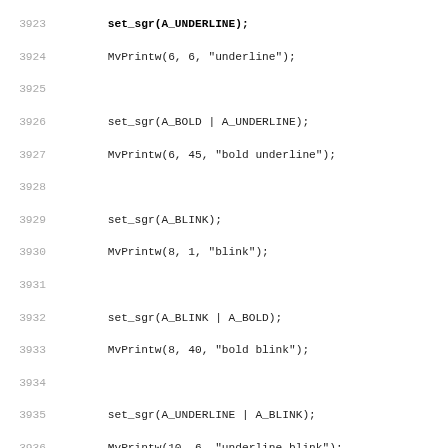Source code listing lines 3923-3955 showing C code with set_sgr and MvPrintw function calls